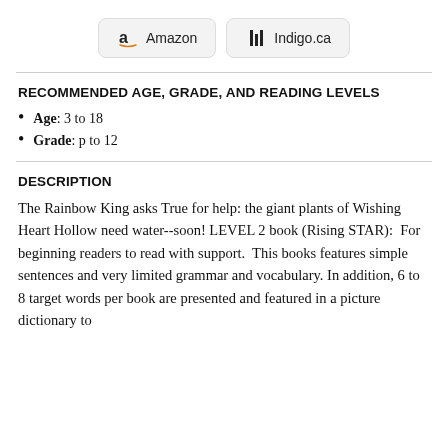[Figure (other): Two store buttons: Amazon and Indigo.ca]
RECOMMENDED AGE, GRADE, AND READING LEVELS
Age: 3 to 18
Grade: p to 12
DESCRIPTION
The Rainbow King asks True for help: the giant plants of Wishing Heart Hollow need water--soon! LEVEL 2 book (Rising STAR):  For beginning readers to read with support.  This books features simple sentences and very limited grammar and vocabulary. In addition, 6 to 8 target words per book are presented and featured in a picture dictionary to